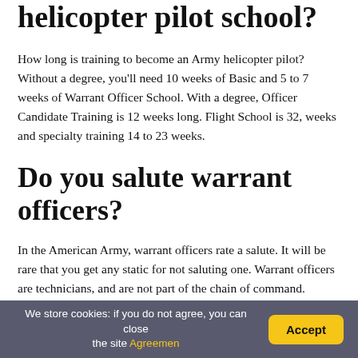helicopter pilot school?
How long is training to become an Army helicopter pilot? Without a degree, you'll need 10 weeks of Basic and 5 to 7 weeks of Warrant Officer School. With a degree, Officer Candidate Training is 12 weeks long. Flight School is 32, weeks and specialty training 14 to 23 weeks.
Do you salute warrant officers?
In the American Army, warrant officers rate a salute. It will be rare that you get any static for not saluting one. Warrant officers are technicians, and are not part of the chain of command.
We store cookies: if you do not agree, you can close the site Agreemen  Accept